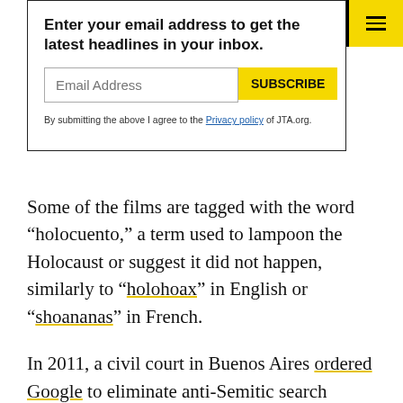Enter your email address to get the latest headlines in your inbox.
Email Address
SUBSCRIBE
By submitting the above I agree to the Privacy policy of JTA.org.
Some of the films are tagged with the word “holocuento,” a term used to lampoon the Holocaust or suggest it did not happen, similarly to “holohoax” in English or “shoananas” in French.
In 2011, a civil court in Buenos Aires ordered Google to eliminate anti-Semitic search suggestions from its Argentine browsers and drop some 76 websites